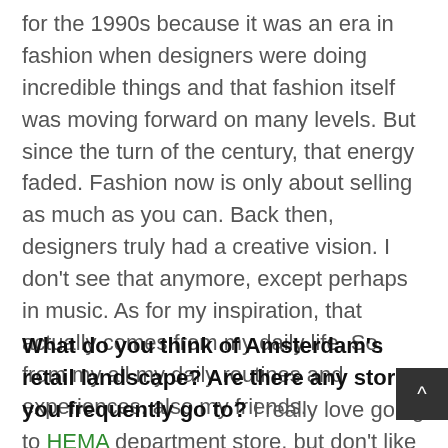for the 1990s because it was an era in fashion when designers were doing incredible things and that fashion itself was moving forward on many levels. But since the turn of the century, that energy faded. Fashion now is only about selling as much as you can. Back then, designers truly had a creative vision. I don't see that anymore, except perhaps in music. As for my inspiration, that actually comes from my daily life. So, from my all my daily routines and experiences, also my friends.
What do you think of Amsterdam's retail landscape? Are there any stores you frequently go to? I really love going to HEMA department store, but don't like fashion stores. I wear the clothes that I design, so, go figure. I also like